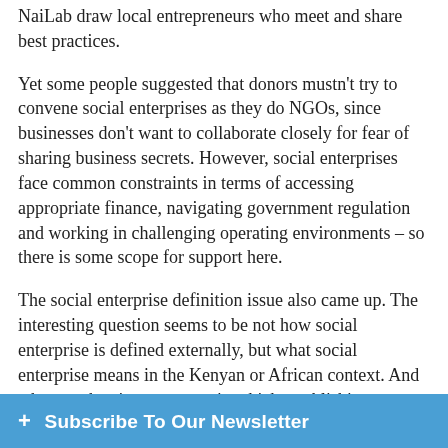NaiLab draw local entrepreneurs who meet and share best practices.
Yet some people suggested that donors mustn't try to convene social enterprises as they do NGOs, since businesses don't want to collaborate closely for fear of sharing business secrets. However, social enterprises face common constraints in terms of accessing appropriate finance, navigating government regulation and working in challenging operating environments – so there is some scope for support here.
The social enterprise definition issue also came up. The interesting question seems to be not how social enterprise is defined externally, but what social enterprise means in the Kenyan or African context. And what are the circumstances in which establishing a definition brings value – eg: is it helpful for funding, to establish a legal status or for research? Following from this, how can attention be productively focused on impact – as an end, instead of the means to an end?
The role of government was featured in discussions at our Tuesday work… on Friday, when a…
+ Subscribe To Our Newsletter